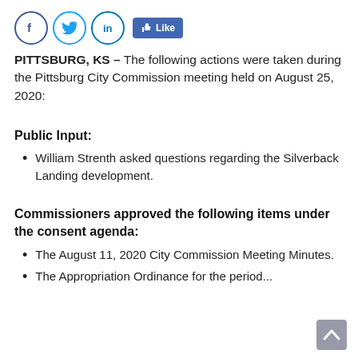[Figure (other): Social media icons: Facebook, Twitter, LinkedIn circles and a Facebook Like button]
PITTSBURG, KS – The following actions were taken during the Pittsburg City Commission meeting held on August 25, 2020:
Public Input:
William Strenth asked questions regarding the Silverback Landing development.
Commissioners approved the following items under the consent agenda:
The August 11, 2020 City Commission Meeting Minutes.
The Appropriation Ordinance for the period...